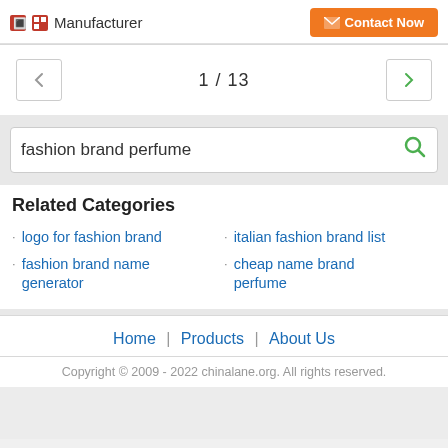Manufacturer
1 / 13
fashion brand perfume
Related Categories
logo for fashion brand
fashion brand name generator
italian fashion brand list
cheap name brand perfume
Home | Products | About Us
Copyright © 2009 - 2022 chinalane.org. All rights reserved.